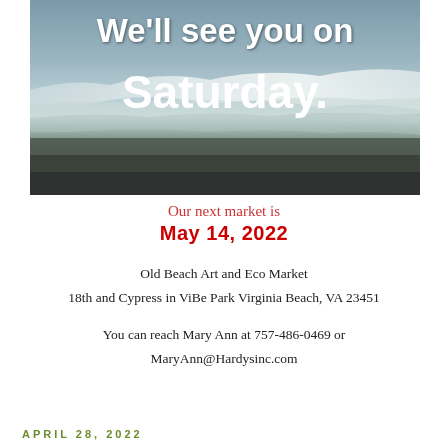[Figure (photo): Beach scene with ocean waves and white foam on shore, dark sand and gray-blue water, with bold white text overlaid reading 'We'll see you on Saturday.']
Our next market is
May 14, 2022
Old Beach Art and Eco Market
18th and Cypress in ViBe Park Virginia Beach, VA 23451
You can reach Mary Ann at 757-486-0469 or
MaryAnn@Hardysinc.com
APRIL 28, 2022